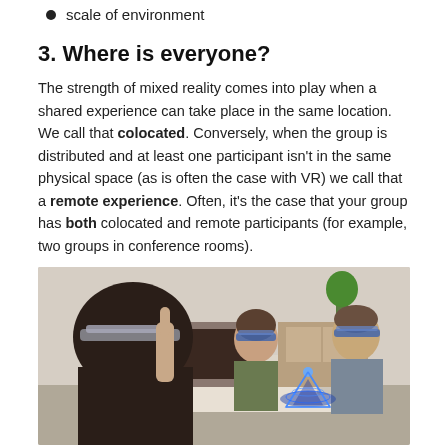scale of environment
3. Where is everyone?
The strength of mixed reality comes into play when a shared experience can take place in the same location. We call that colocated. Conversely, when the group is distributed and at least one participant isn't in the same physical space (as is often the case with VR) we call that a remote experience. Often, it's the case that your group has both colocated and remote participants (for example, two groups in conference rooms).
[Figure (photo): Three people wearing mixed reality headsets sitting in a living room, with a holographic object visible between them. The person in the foreground has dark hair and is seen from behind, wearing a HoloLens-style device.]